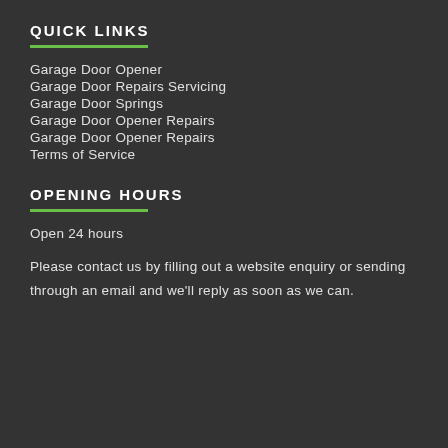QUICK LINKS
Garage Door Opener
Garage Door Repairs Servicing
Garage Door Springs
Garage Door Opener Repairs
Garage Door Opener Repairs
Terms of Service
OPENING HOURS
Open 24 hours
Please contact us by filling out a website enquiry or sending through an email and we'll reply as soon as we can.